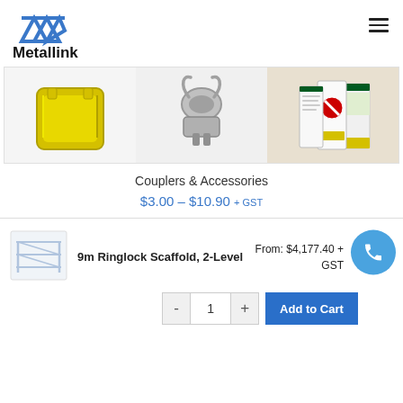[Figure (logo): Metallink company logo with blue triangular graphic and bold text]
[Figure (photo): Three product images: yellow scaffold cap/base, silver metal scaffold coupler, and scaffold safety signage booklets]
Couplers & Accessories
$3.00 – $10.90 + GST
[Figure (photo): Thumbnail image of 9m Ringlock Scaffold 2-Level product]
9m Ringlock Scaffold, 2-Level
From: $4,177.40 + GST